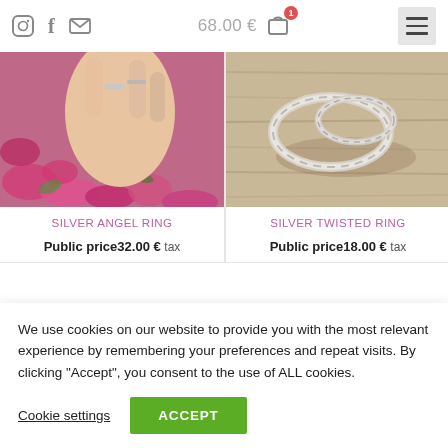68.00 € [cart: 1 item] [icons: instagram, facebook, mail, hamburger menu]
[Figure (photo): A hand with two silver rings on fingers, surrounded by pink flowers]
[Figure (photo): Two silver twisted rings resting on a weathered wooden surface]
SILVER ANGEL RING
Public price32.00 € tax
SILVER TWISTED RING
Public price18.00 € tax
We use cookies on our website to provide you with the most relevant experience by remembering your preferences and repeat visits. By clicking "Accept", you consent to the use of ALL cookies.
Cookie settings
ACCEPT